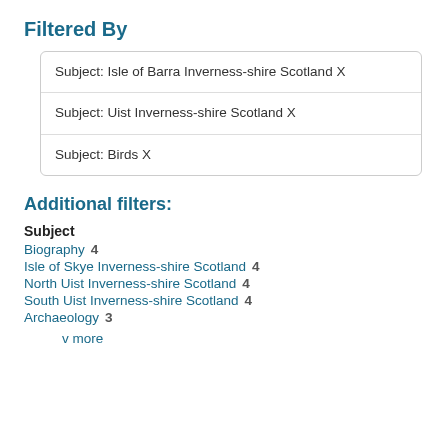Filtered By
Subject: Isle of Barra Inverness-shire Scotland X
Subject: Uist Inverness-shire Scotland X
Subject: Birds X
Additional filters:
Subject
Biography  4
Isle of Skye Inverness-shire Scotland  4
North Uist Inverness-shire Scotland  4
South Uist Inverness-shire Scotland  4
Archaeology  3
v more